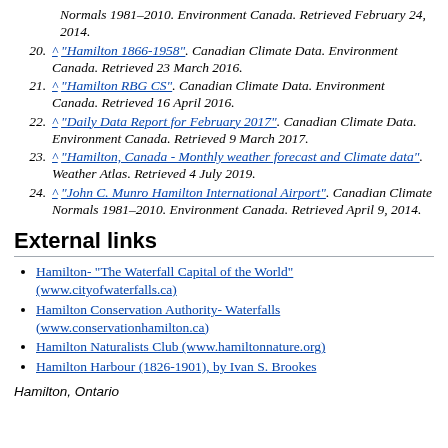Normals 1981–2010. Environment Canada. Retrieved February 24, 2014.
20. ^ "Hamilton 1866-1958". Canadian Climate Data. Environment Canada. Retrieved 23 March 2016.
21. ^ "Hamilton RBG CS". Canadian Climate Data. Environment Canada. Retrieved 16 April 2016.
22. ^ "Daily Data Report for February 2017". Canadian Climate Data. Environment Canada. Retrieved 9 March 2017.
23. ^ "Hamilton, Canada - Monthly weather forecast and Climate data". Weather Atlas. Retrieved 4 July 2019.
24. ^ "John C. Munro Hamilton International Airport". Canadian Climate Normals 1981–2010. Environment Canada. Retrieved April 9, 2014.
External links
Hamilton- "The Waterfall Capital of the World" (www.cityofwaterfalls.ca)
Hamilton Conservation Authority- Waterfalls (www.conservationhamilton.ca)
Hamilton Naturalists Club (www.hamiltonnature.org)
Hamilton Harbour (1826-1901), by Ivan S. Brookes
Hamilton, Ontario